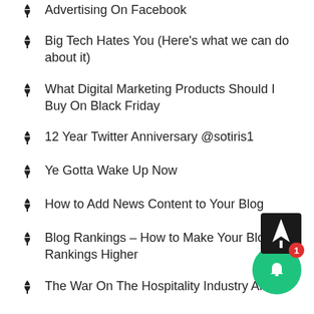Advertising On Facebook
Big Tech Hates You (Here's what we can do about it)
What Digital Marketing Products Should I Buy On Black Friday
12 Year Twitter Anniversary @sotiris1
Ye Gotta Wake Up Now
How to Add News Content to Your Blog
Blog Rankings – How to Make Your Blog Rankings Higher
The War On The Hospitality Industry And Y…
Live Broadcasting From Blog Talk Radio